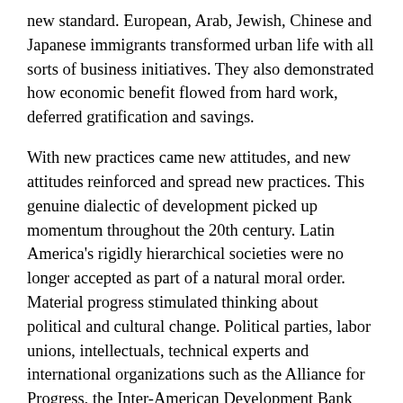new standard. European, Arab, Jewish, Chinese and Japanese immigrants transformed urban life with all sorts of business initiatives. They also demonstrated how economic benefit flowed from hard work, deferred gratification and savings.
With new practices came new attitudes, and new attitudes reinforced and spread new practices. This genuine dialectic of development picked up momentum throughout the 20th century. Latin America's rigidly hierarchical societies were no longer accepted as part of a natural moral order. Material progress stimulated thinking about political and cultural change. Political parties, labor unions, intellectuals, technical experts and international organizations such as the Alliance for Progress, the Inter-American Development Bank and the World Bank promoted public policies to improve general well-being. In the 1960s, thanks to Pope John XXIII and Paul VI's aggiornamento, or updating, the Catholic Church distanced itself from the traditional, stratified Latin American society and preached social justice. Protestant churches attracted a growing following, stressing, in good Weberian fashion, the